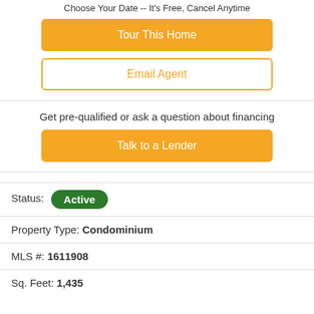Choose Your Date -- It's Free, Cancel Anytime
Tour This Home
Email Agent
Get pre-qualified or ask a question about financing
Talk to a Lender
Status: Active
Property Type: Condominium
MLS #: 1611908
Sq. Feet: 1,435